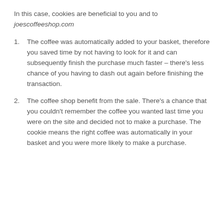In this case, cookies are beneficial to you and to joescoffeeshop.com
The coffee was automatically added to your basket, therefore you saved time by not having to look for it and can subsequently finish the purchase much faster – there's less chance of you having to dash out again before finishing the transaction.
The coffee shop benefit from the sale. There's a chance that you couldn't remember the coffee you wanted last time you were on the site and decided not to make a purchase. The cookie means the right coffee was automatically in your basket and you were more likely to make a purchase.